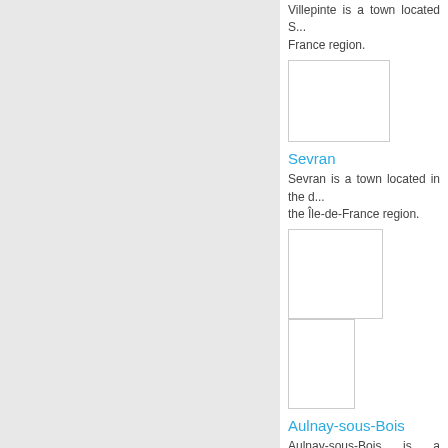Villepinte is a town located S... France region.
[Figure (photo): Placeholder image for Villepinte]
Sevran
Sevran is a town located in the d... the Île-de-France region.
[Figure (photo): Two placeholder images for Sevran]
Aulnay-sous-Bois
Aulnay-sous-Bois is a commun... Denis department in the Ile-de-Fr...
[Figure (photo): Two placeholder images for Aulnay-sous-Bois]
Livry-Gargan
Livry-Gargan is a town located i... Denis in the Ile-de-France region...
[Figure (photo): Placeholder images for Livry-Gargan]